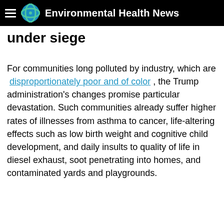Environmental Health News
under siege
For communities long polluted by industry, which are disproportionately poor and of color , the Trump administration's changes promise particular devastation. Such communities already suffer higher rates of illnesses from asthma to cancer, life-altering effects such as low birth weight and cognitive child development, and daily insults to quality of life in diesel exhaust, soot penetrating into homes, and contaminated yards and playgrounds.